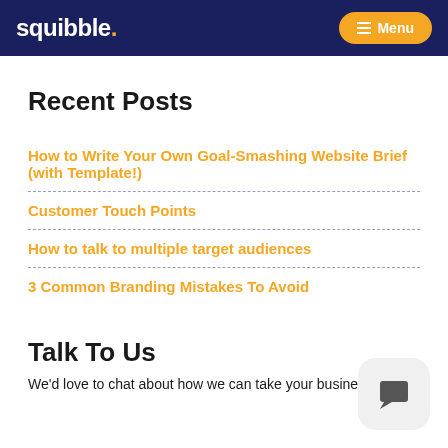squibble. Menu
Recent Posts
How to Write Your Own Goal-Smashing Website Brief (with Template!)
Customer Touch Points
How to talk to multiple target audiences
3 Common Branding Mistakes To Avoid
Talk To Us
We'd love to chat about how we can take your business to the